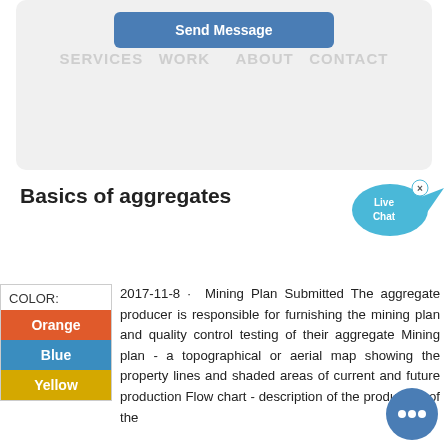[Figure (screenshot): Gray card with Send Message button and navigation bar showing SERVICES, WORK, ABOUT, CONTACT]
Basics of aggregates
[Figure (illustration): Live Chat speech bubble icon with an 'x' close button]
COLOR:
Orange
Blue
Yellow
2017-11-8 · Mining Plan Submitted The aggregate producer is responsible for furnishing the mining plan and quality control testing of their aggregate Mining plan - a topographical or aerial map showing the property lines and shaded areas of current and future production Flow chart - description of the production of the
[Figure (illustration): Round blue chat button with three dots]